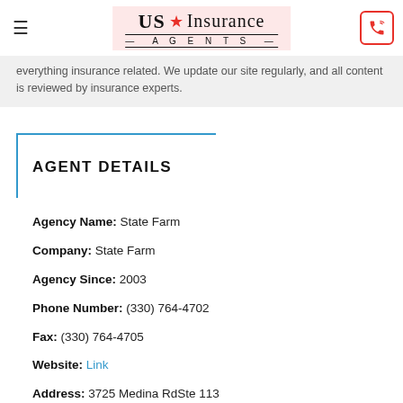US Insurance Agents
everything insurance related. We update our site regularly, and all content is reviewed by insurance experts.
AGENT DETAILS
Agency Name: State Farm
Company: State Farm
Agency Since: 2003
Phone Number: (330) 764-4702
Fax: (330) 764-4705
Website: Link
Address: 3725 Medina RdSte 113
City: Medina
State: OH